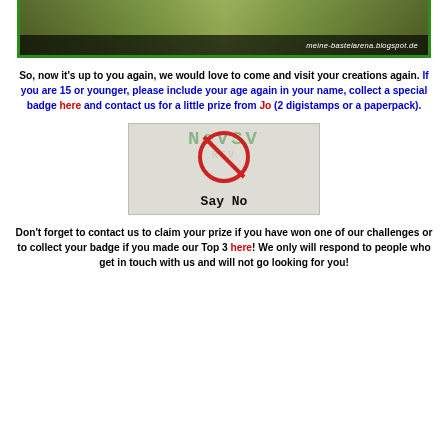[Figure (photo): Top portion of a crafting blog post photo showing a card or project with green border and the text 'meine-bastelarena.blogspot.de' on a dark banner]
So, now it's up to you again, we would love to come and visit your creations again. If you are 15 or younger, please include your age again in your name, collect a special badge here and contact us for a little prize from Jo (2 digistamps or a paperpack).
[Figure (photo): Badge image with green handwritten-style text in background, a red 'no' prohibition circle symbol in center, and bold text 'Say No' at the bottom]
Don't forget to contact us to claim your prize if you have won one of our challenges or to collect your badge if you made our Top 3 here! We only will respond to people who get in touch with us and will not go looking for you!